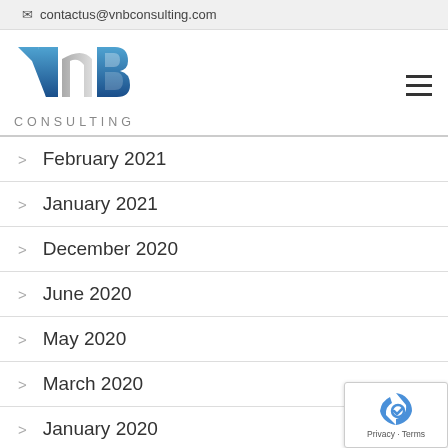contactus@vnbconsulting.com
[Figure (logo): VNB Consulting logo with blue V, n, B letters and CONSULTING text below]
February 2021
January 2021
December 2020
June 2020
May 2020
March 2020
January 2020